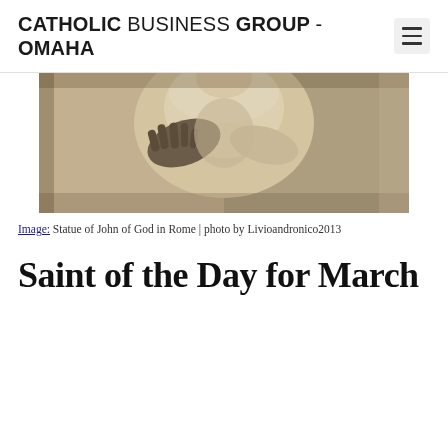CATHOLIC BUSINESS GROUP - OMAHA
[Figure (photo): Close-up of a stone statue showing hands and torso, depicting John of God, located in Rome. Stone/marble texture in warm beige tones.]
Image: Statue of John of God in Rome | photo by Livioandronico2013
Saint of the Day for March